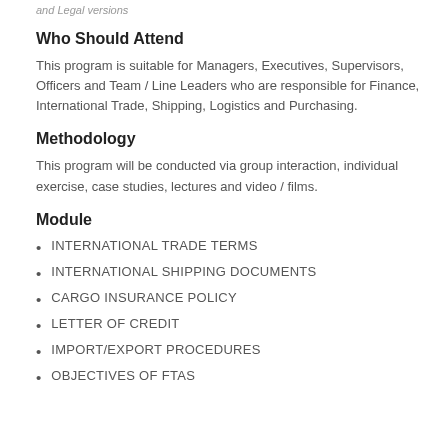and Legal versions
Who Should Attend
This program is suitable for Managers, Executives, Supervisors, Officers and Team / Line Leaders who are responsible for Finance, International Trade, Shipping, Logistics and Purchasing.
Methodology
This program will be conducted via group interaction, individual exercise, case studies, lectures and video / films.
Module
INTERNATIONAL TRADE TERMS
INTERNATIONAL SHIPPING DOCUMENTS
CARGO INSURANCE POLICY
LETTER OF CREDIT
IMPORT/EXPORT PROCEDURES
OBJECTIVES OF FTAS